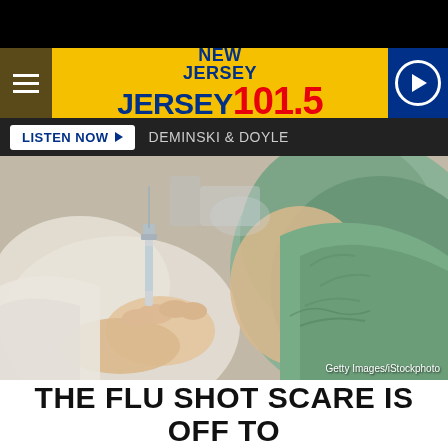NEW JERSEY 101.5
[Figure (photo): A healthcare worker holding a syringe about to administer a flu shot to a patient's upper arm. The patient is wearing a green t-shirt pulled up to expose their shoulder. Medical setting, blurred background.]
Getty Images/iStockphoto
THE FLU SHOT SCARE IS OFF TO